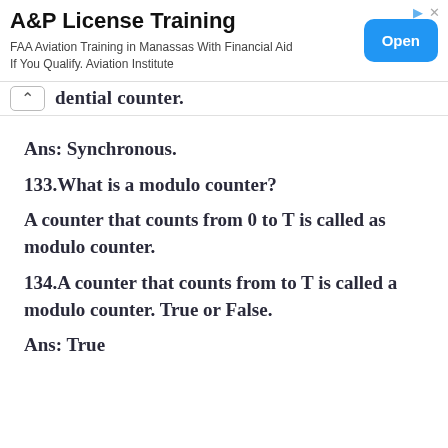[Figure (screenshot): Advertisement banner for A&P License Training. Shows title 'A&P License Training', subtitle 'FAA Aviation Training in Manassas With Financial Aid If You Qualify. Aviation Institute', and a blue 'Open' button.]
dential counter.
Ans: Synchronous.
133.What is a modulo counter?
A counter that counts from 0 to T is called as modulo counter.
134.A counter that counts from to T is called a modulo counter. True or False.
Ans: True